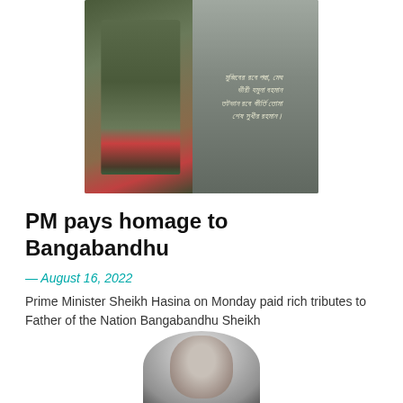[Figure (photo): Composite photo showing a military officer in camouflage uniform saluting on the left, and a dark memorial plaque with Bengali script text on the right]
PM pays homage to Bangabandhu
— August 16, 2022
Prime Minister Sheikh Hasina on Monday paid rich tributes to Father of the Nation Bangabandhu Sheikh
[Figure (photo): Black and white portrait photo of a man, partially visible, cropped at the bottom of the page]